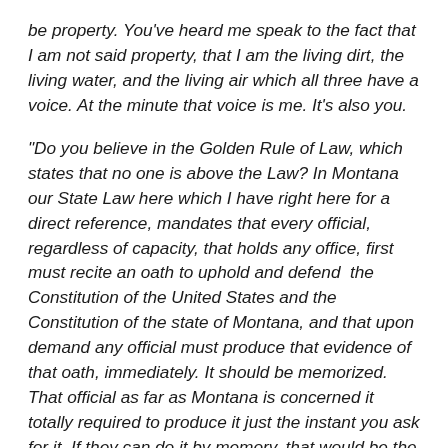be property. You've heard me speak to the fact that I am not said property, that I am the living dirt, the living water, and the living air which all three have a voice. At the minute that voice is me. It's also you. “Do you believe in the Golden Rule of Law, which states that no one is above the Law? In Montana our State Law here which I have right here for a direct reference, mandates that every official, regardless of capacity, that holds any office, first must recite an oath to uphold and defend  the Constitution of the United States and the Constitution of the state of Montana, and that upon demand any official must produce that evidence of that oath, immediately. It should be memorized. That official as far as Montana is concerned it totally required to produce it just the instant you ask for it. If they can do it by memory, that would be the better for them. The facts of the matter